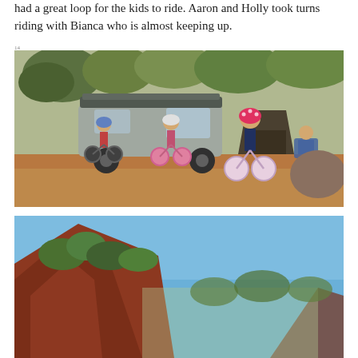had a great loop for the kids to ride. Aaron and Holly took turns riding with Bianca who is almost keeping up.
[Figure (photo): Three children riding bicycles at a campsite with a 4WD vehicle loaded with gear and a tent in the background. A person relaxes in a camp chair to the right. Dirt ground with dry leaves.]
[Figure (photo): Red rocky outcrop with trees and blue sky in the background, partially visible at bottom of page.]